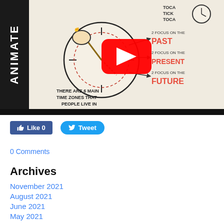[Figure (screenshot): YouTube video thumbnail showing an animated whiteboard video about time zones. Left sidebar shows 'ANIMATE' text vertically in white on black. Main content shows hand-drawn illustration of a clock with text: 'THERE ARE 6 MAIN TIME ZONES THAT PEOPLE LIVE IN' and arrows pointing to '2 FOCUS ON THE PAST', '2 FOCUS ON THE PRESENT', '2 FOCUS ON THE FUTURE' with a red YouTube play button overlay.]
Like 0
Tweet
0 Comments
Archives
November 2021
August 2021
June 2021
May 2021